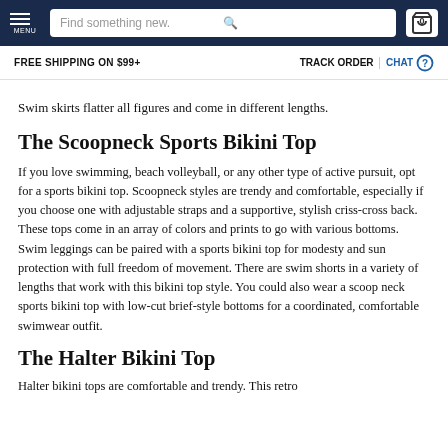MENU | Find something new. | 0
FREE SHIPPING ON $99+ | TRACK ORDER | CHAT
Swim skirts flatter all figures and come in different lengths.
The Scoopneck Sports Bikini Top
If you love swimming, beach volleyball, or any other type of active pursuit, opt for a sports bikini top. Scoopneck styles are trendy and comfortable, especially if you choose one with adjustable straps and a supportive, stylish criss-cross back. These tops come in an array of colors and prints to go with various bottoms. Swim leggings can be paired with a sports bikini top for modesty and sun protection with full freedom of movement. There are swim shorts in a variety of lengths that work with this bikini top style. You could also wear a scoop neck sports bikini top with low-cut brief-style bottoms for a coordinated, comfortable swimwear outfit.
The Halter Bikini Top
Halter bikini tops are comfortable and trendy. This retro